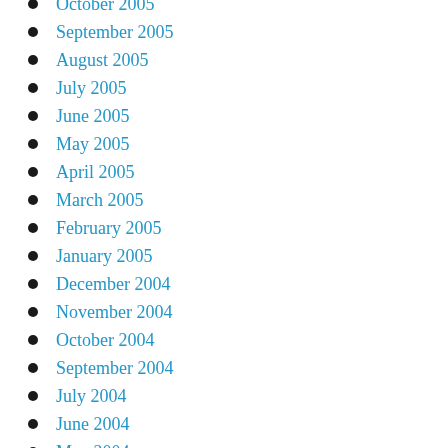October 2005
September 2005
August 2005
July 2005
June 2005
May 2005
April 2005
March 2005
February 2005
January 2005
December 2004
November 2004
October 2004
September 2004
July 2004
June 2004
May 2004